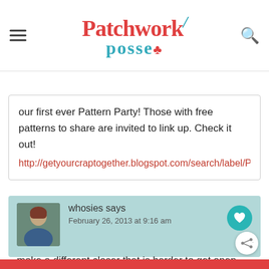Patchwork Posse
our first ever Pattern Party! Those with free patterns to share are invited to link up. Check it out!
http://getyourcraptogether.blogspot.com/search/label/Pattern%2
whosies says
February 26, 2013 at 9:16 am
make a different closer that is harder to get open too- that might deter those little fingers even more!